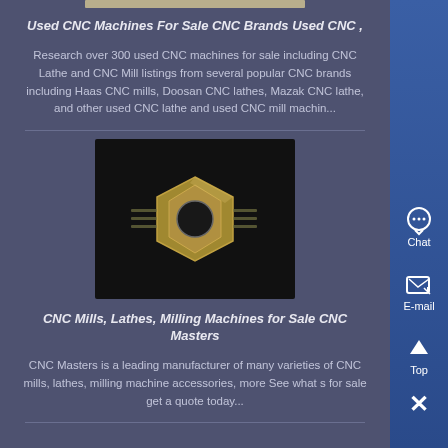[Figure (photo): Partial top image strip showing a metallic/beige product or machine part, cropped at top]
Used CNC Machines For Sale CNC Brands Used CNC ,
Research over 300 used CNC machines for sale including CNC Lathe and CNC Mill listings from several popular CNC brands including Haas CNC mills, Doosan CNC lathes, Mazak CNC lathe, and other used CNC lathe and used CNC mill machin...
[Figure (photo): Close-up photo of a metallic hex nut or coupling fitting on a dark background]
CNC Mills, Lathes, Milling Machines for Sale CNC Masters
CNC Masters is a leading manufacturer of many varieties of CNC mills, lathes, milling machine accessories, more See what s for sale get a quote today...